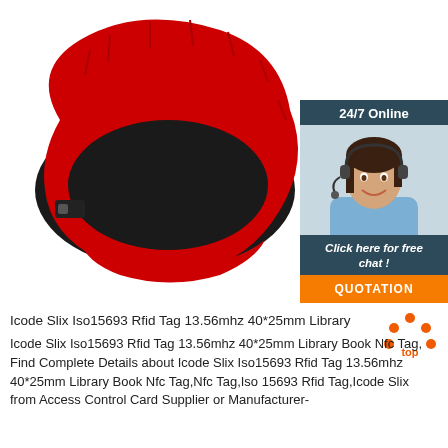[Figure (photo): Red and black RFID wristband/strap product photo on white background, with a customer service chat widget overlay in the top right showing '24/7 Online', a photo of a woman with headset, 'Click here for free chat!' text, and an orange QUOTATION button]
Icode Slix Iso15693 Rfid Tag 13.56mhz 40*25mm Library
Icode Slix Iso15693 Rfid Tag 13.56mhz 40*25mm Library Book Nfc Tag, Find Complete Details about Icode Slix Iso15693 Rfid Tag 13.56mhz 40*25mm Library Book Nfc Tag,Nfc Tag,Iso 15693 Rfid Tag,Icode Slix from Access Control Card Supplier or Manufacturer-